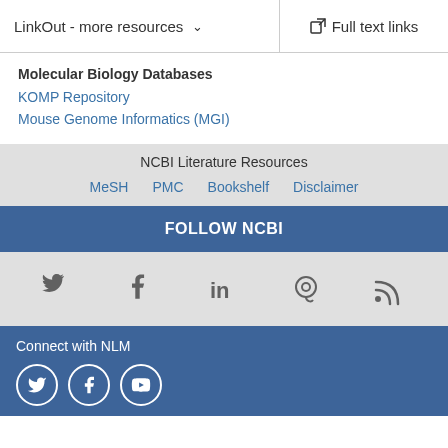LinkOut - more resources ∨
Full text links
Molecular Biology Databases
KOMP Repository
Mouse Genome Informatics (MGI)
NCBI Literature Resources
MeSH
PMC
Bookshelf
Disclaimer
FOLLOW NCBI
[Figure (infographic): Social media icons row: Twitter, Facebook, LinkedIn, GitHub, RSS feed — gray icons on light gray background]
Connect with NLM
[Figure (infographic): Social media circle icons: Twitter, Facebook, YouTube — white outlined circles on dark blue background]